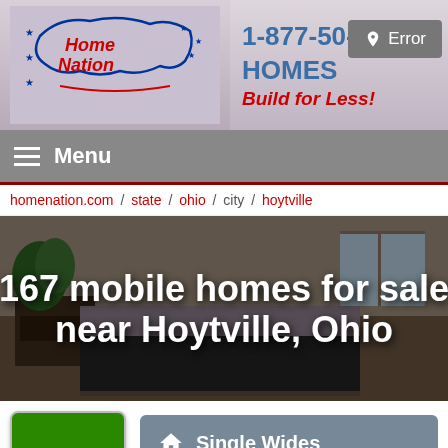1-877-50-HOMES Build for Less!
Error
≡ Menu
homenation.com / state / ohio / city / hoytville
167 mobile homes for sale near Hoytville, Ohio
Us
Single Wides